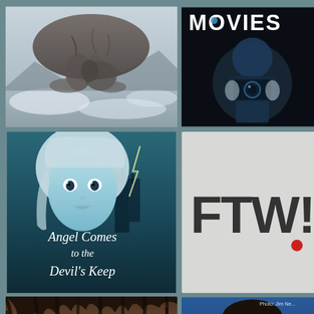[Figure (photo): Surreal landscape with crumbling rocky overhang above mountains and clouds, monochrome toned]
[Figure (photo): Dark image with blue-toned figure holding camera, text MOVIES at top in white letters]
[Figure (illustration): Book cover: Angel Comes to the Devil's Keep, teal-toned young woman with blonde hair, lightning, castle in background]
[Figure (logo): FTW! logo in large dark gray bold letters on light gray background with a red dot after exclamation mark]
[Figure (photo): Close-up of a man's eyes with wet dark hair covering most of face]
[Figure (photo): Portrait of a young man with dark hair against blue background, small text Photo: Jim Nee... in upper area]